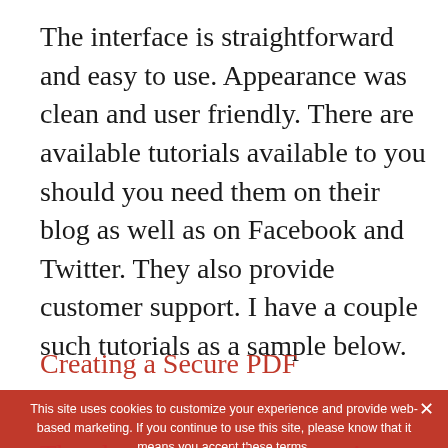The interface is straightforward and easy to use. Appearance was clean and user friendly. There are available tutorials available to you should you need them on their blog as well as on Facebook and Twitter. They also provide customer support. I have a couple such tutorials as a sample below.
Creating a Secure PDF
The New PDF to Excel Custom Conversion...
This site uses cookies to customize your experience and provide web-based marketing. If you continue to use this site, please know that it means you accept these terms.
They have many file conversion options to choose from: Word, Excel, Powerpoint, Open Office, Publisher, HTML, and any of the image formats (however pricing)...